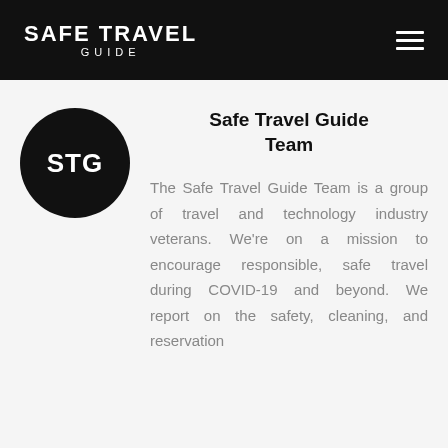SAFE TRAVEL GUIDE
[Figure (logo): Black circle logo with white text STG]
Safe Travel Guide Team
The Safe Travel Guide Team is a group of travel and technology industry veterans. We're on a mission to encourage responsible, safe travel during COVID-19 and beyond. We report on the safety, cleaning, and reservation